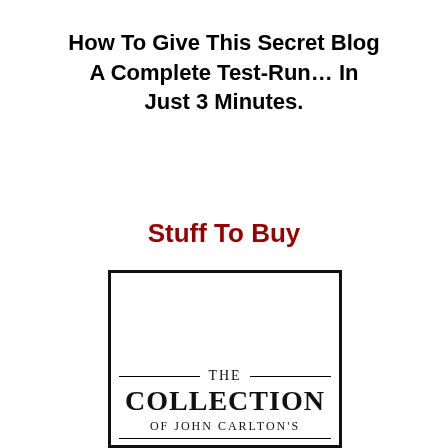How To Give This Secret Blog A Complete Test-Run… In Just 3 Minutes.
Stuff To Buy
[Figure (illustration): Book cover image showing 'THE COLLECTION OF JOHN CARLTON'S' text with decorative horizontal lines, inside a black border rectangle.]